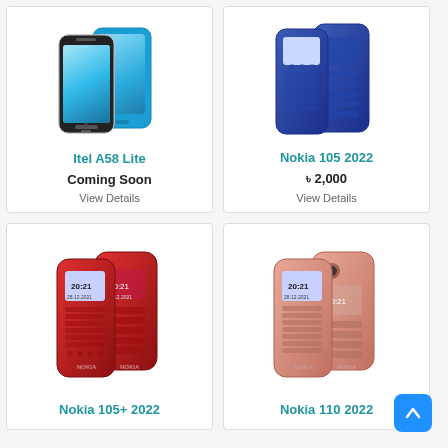[Figure (photo): Itel A58 Lite smartphone in blue color, front and back view]
Itel A58 Lite
Coming Soon
View Details
[Figure (photo): Nokia 105 2022 feature phone in blue color, front and back view]
Nokia 105 2022
৳ 2,000
View Details
[Figure (photo): Nokia 105+ 2022 feature phone in red color, front and back view]
Nokia 105+ 2022
[Figure (photo): Nokia 110 2022 feature phone in pink/rose gold color, front and back view]
Nokia 110 2022